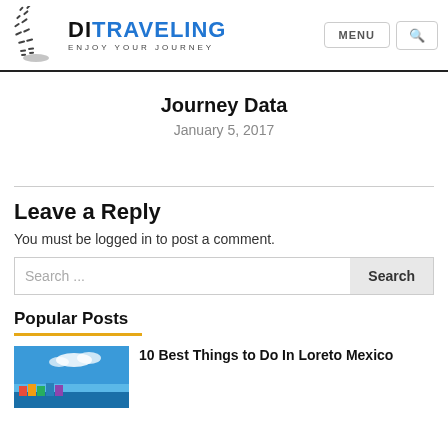DITRAVELING — ENJOY YOUR JOURNEY | MENU | Search
Journey Data
January 5, 2017
Leave a Reply
You must be logged in to post a comment.
Search ...
Popular Posts
10 Best Things to Do In Loreto Mexico